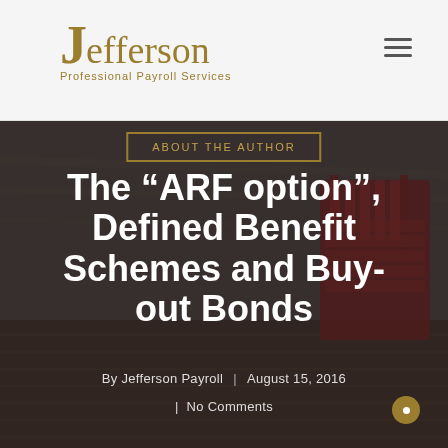[Figure (logo): Jefferson Professional Payroll Services logo in golden/olive color with serif font]
The “ARF option”, Defined Benefit Schemes and Buy-out Bonds
By Jefferson Payroll | August 15, 2016
| No Comments